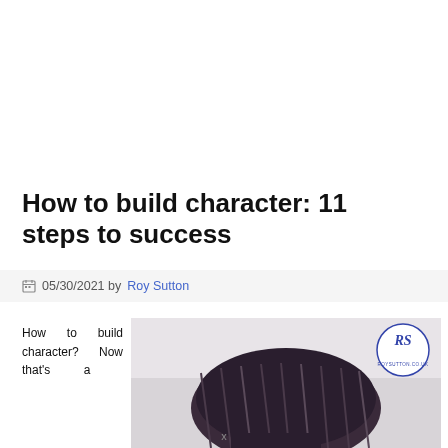How to build character: 11 steps to success
05/30/2021 by Roy Sutton
How to build character? Now that's a
[Figure (photo): A person wearing a knitted glove or hat, with an RS logo watermark in the top right corner.]